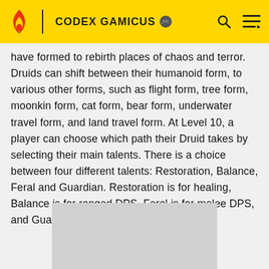CODEX GAMICUS
have formed to rebirth places of chaos and terror. Druids can shift between their humanoid form, to various other forms, such as flight form, tree form, moonkin form, cat form, bear form, underwater travel form, and land travel form. At Level 10, a player can choose which path their Druid takes by selecting their main talents. There is a choice between four different talents: Restoration, Balance, Feral and Guardian. Restoration is for healing, Balance is for ranged DPS, Feral is for melee DPS, and Guardian is for tanking.
[Figure (other): Gray advertisement placeholder rectangle at bottom of page]